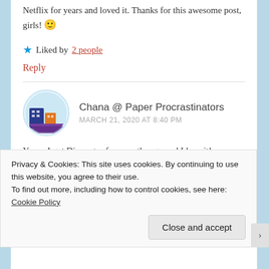Netflix for years and loved it. Thanks for this awesome post, girls! 🙂
★ Liked by 2 people
Reply
Chana @ Paper Procrastinators
MARCH 21, 2020 AT 8:40 PM
Yesss, I got Disney+ a few months ago and I love it! I originally got it just so that I could watch The
Privacy & Cookies: This site uses cookies. By continuing to use this website, you agree to their use.
To find out more, including how to control cookies, see here: Cookie Policy
Close and accept